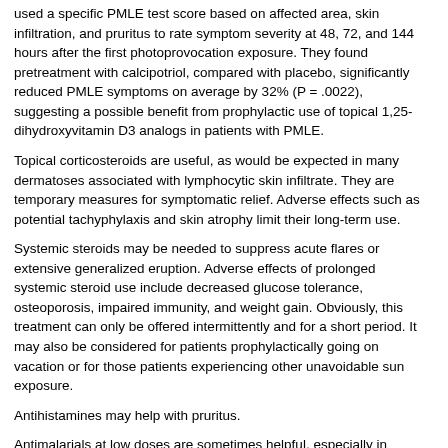used a specific PMLE test score based on affected area, skin infiltration, and pruritus to rate symptom severity at 48, 72, and 144 hours after the first photoprovocation exposure. They found pretreatment with calcipotriol, compared with placebo, significantly reduced PMLE symptoms on average by 32% (P = .0022), suggesting a possible benefit from prophylactic use of topical 1,25-dihydroxyvitamin D3 analogs in patients with PMLE.
Topical corticosteroids are useful, as would be expected in many dermatoses associated with lymphocytic skin infiltrate. They are temporary measures for symptomatic relief. Adverse effects such as potential tachyphylaxis and skin atrophy limit their long-term use.
Systemic steroids may be needed to suppress acute flares or extensive generalized eruption. Adverse effects of prolonged systemic steroid use include decreased glucose tolerance, osteoporosis, impaired immunity, and weight gain. Obviously, this treatment can only be offered intermittently and for a short period. It may also be considered for patients prophylactically going on vacation or for those patients experiencing other unavoidable sun exposure.
Antihistamines may help with pruritus.
Antimalarials at low doses are sometimes helpful, especially in patients with a large papular variety of PMLE. A good-to-excellent response was reported by 68.9% of the patients who received hydroxychloroquine and by 63% of the patients who received chloroquine.[57]
Beta-carotene, which is effective in erythropoietic protoporphyria, may be an alternative to chloroquine. Oral carotenoid preparation (beta-carotene and canthaxanthin in a daily total dose of 100 mg) was compared to hydroxychloroquine (200 mg qd).[58] Both offered full sun tolerance in an